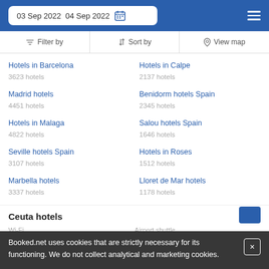03 Sep 2022  04 Sep 2022
Filter by
Sort by
View map
Hotels in Barcelona
3623 hotels
Hotels in Calpe
2137 hotels
Madrid hotels
4451 hotels
Benidorm hotels Spain
2345 hotels
Hotels in Malaga
4822 hotels
Salou hotels Spain
1646 hotels
Seville hotels Spain
3107 hotels
Hotels in Roses
1512 hotels
Marbella hotels
3337 hotels
Lloret de Mar hotels
1178 hotels
Ceuta hotels
Wi-Fi
Airport shuttle
Booked.net uses cookies that are strictly necessary for its functioning. We do not collect analytical and marketing cookies.